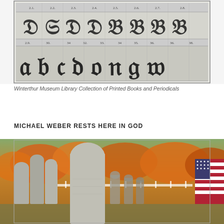[Figure (illustration): Historical calligraphy/type specimen chart showing decorative Gothic/blackletter alphabet characters arranged in rows with numbered labels, from the Winterthur Museum Library Collection of Printed Books and Periodicals. Black and white engraving.]
Winterthur Museum Library Collection of Printed Books and Periodicals
MICHAEL WEBER RESTS HERE IN GOD
[Figure (photo): Outdoor autumn cemetery photograph showing multiple old stone grave markers (headstones) with rounded tops in the foreground, orange and yellow autumn foliage trees in the background, a white fence visible in the middle distance, and a partial American flag visible on the right edge.]